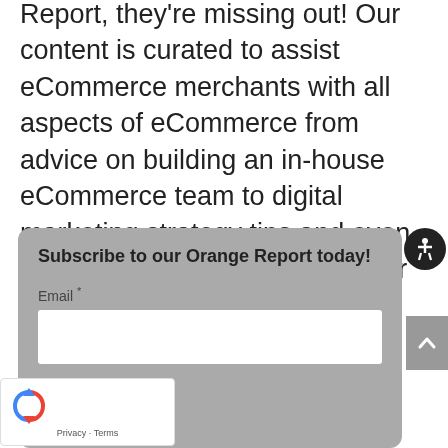Report, they're missing out! Our content is curated to assist eCommerce merchants with all aspects of eCommerce from advice on building an in-house eCommerce team to digital marketing strategy tips and even development tricks and news for Magento.
Subscribe to our Orange Report today!
Email *
Submit
[Figure (other): reCAPTCHA widget with circular arrows logo and Privacy - Terms links]
[Figure (other): Accessibility icon button (person in circle) on black circular background]
[Figure (other): Scroll to top button with upward chevron arrow on grey background]